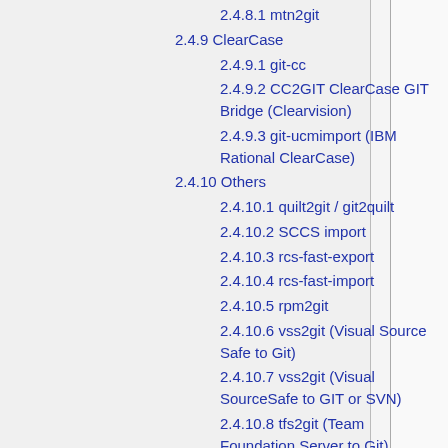2.4.8.1 mtn2git
2.4.9 ClearCase
2.4.9.1 git-cc
2.4.9.2 CC2GIT ClearCase GIT Bridge (Clearvision)
2.4.9.3 git-ucmimport (IBM Rational ClearCase)
2.4.10 Others
2.4.10.1 quilt2git / git2quilt
2.4.10.2 SCCS import
2.4.10.3 rcs-fast-export
2.4.10.4 rcs-fast-import
2.4.10.5 rpm2git
2.4.10.6 vss2git (Visual Source Safe to Git)
2.4.10.7 vss2git (Visual SourceSafe to GIT or SVN)
2.4.10.8 tfs2git (Team Foundation Server to Git)
2.4.10.9 git-tfs (Team Foundation Server bridge)
2.4.10.10 SRC
2.4.10.11 Git-Mediawiki
2.4.10.12 ldan-git-backup